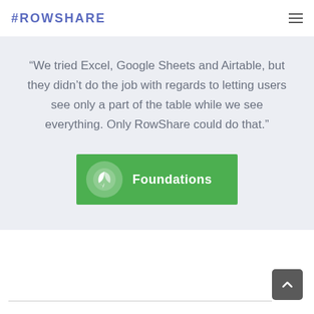#ROWSHARE
“We tried Excel, Google Sheets and Airtable, but they didn’t do the job with regards to letting users see only a part of the table while we see everything. Only RowShare could do that.”
[Figure (logo): Foundations logo: green rectangle banner with white circle containing a leaf icon and white text reading 'Foundations']